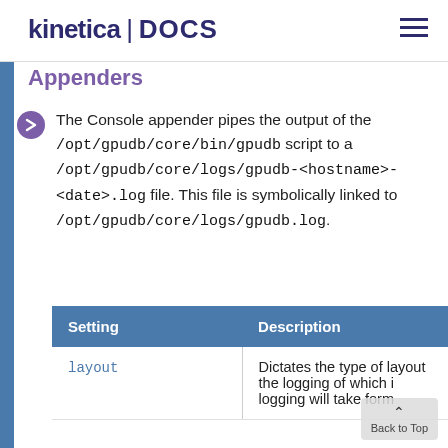kinetica | DOCS
Appenders
The Console appender pipes the output of the /opt/gpudb/core/bin/gpudb script to a /opt/gpudb/core/logs/gpudb-<hostname>-<date>.log file. This file is symbolically linked to /opt/gpudb/core/logs/gpudb.log.
| Setting | Description |
| --- | --- |
| layout | Dictates the type of layout the logging of which logging will take form |